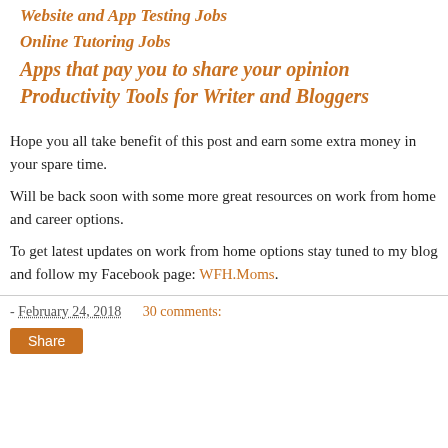Website and App Testing Jobs
Online Tutoring Jobs
Apps that pay you to share your opinion
Productivity Tools for Writer and Bloggers
Hope you all take benefit of this post and earn some extra money in your spare time.
Will be back soon with some more great resources on work from home and career options.
To get latest updates on work from home options stay tuned to my blog and follow my Facebook page: WFH.Moms.
- February 24, 2018   30 comments:   Share